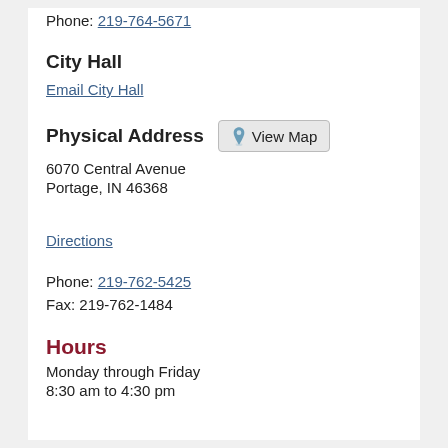Phone: 219-764-5671
City Hall
Email City Hall
Physical Address
6070 Central Avenue
Portage, IN 46368
Directions
Phone: 219-762-5425
Fax: 219-762-1484
Hours
Monday through Friday
8:30 am to 4:30 pm